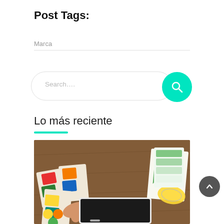Post Tags:
Marca
[Figure (other): Search bar with teal circular search button]
Lo más reciente
[Figure (photo): Overhead photo of hands working with colorful design swatches, a tablet, rulers and color samples on a wooden desk]